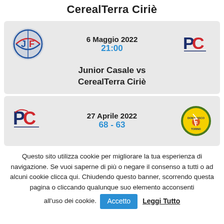CerealTerra Ciriè
[Figure (infographic): Match card showing Junior Casale vs CerealTerra Ciriè on 6 Maggio 2022 at 21:00, with team logos on either side]
[Figure (infographic): Match card showing CerealTerra Ciriè vs Don Bosco Crocetta on 27 Aprile 2022, score 68 - 63, with team logos on either side]
Questo sito utilizza cookie per migliorare la tua esperienza di navigazione. Se vuoi saperne di più o negare il consenso a tutti o ad alcuni cookie clicca qui. Chiudendo questo banner, scorrendo questa pagina o cliccando qualunque suo elemento acconsenti all'uso dei cookie. Accetto Leggi Tutto